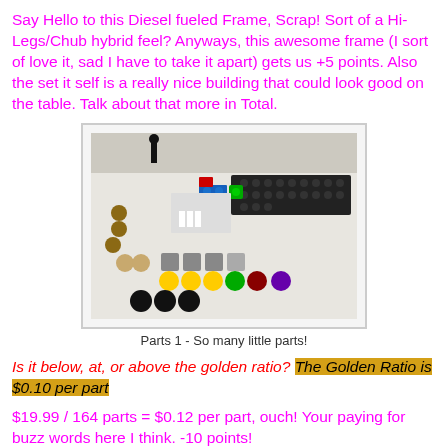Say Hello to this Diesel fueled Frame, Scrap! Sort of a Hi-Legs/Chub hybrid feel? Anyways, this awesome frame (I sort of love it, sad I have to take it apart) gets us +5 points. Also the set it self is a really nice building that could look good on the table. Talk about that more in Total.
[Figure (photo): Photo of many small LEGO parts laid out on a white surface, including various colored bricks, wheels, and small pieces in black, gray, yellow, green, red, blue, and brown.]
Parts 1 - So many little parts!
Is it below, at, or above the golden ratio? The Golden Ratio is $0.10 per part
$19.99 / 164 parts = $0.12 per part, ouch! Your paying for buzz words here I think. -10 points!